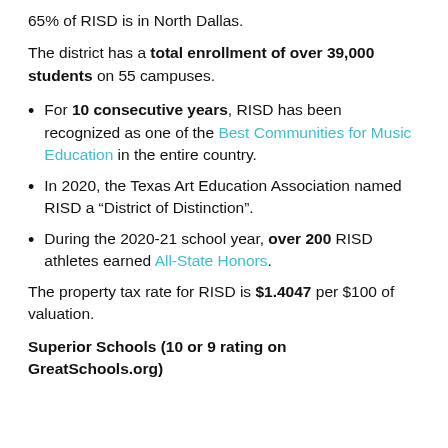65% of RISD is in North Dallas.
The district has a total enrollment of over 39,000 students on 55 campuses.
For 10 consecutive years, RISD has been recognized as one of the Best Communities for Music Education in the entire country.
In 2020, the Texas Art Education Association named RISD a “District of Distinction”.
During the 2020-21 school year, over 200 RISD athletes earned All-State Honors.
The property tax rate for RISD is $1.4047 per $100 of valuation.
Superior Schools (10 or 9 rating on GreatSchools.org)